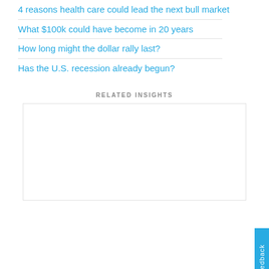4 reasons health care could lead the next bull market
What $100k could have become in 20 years
How long might the dollar rally last?
Has the U.S. recession already begun?
RELATED INSIGHTS
[Figure (other): Empty white rectangle placeholder for related insights content]